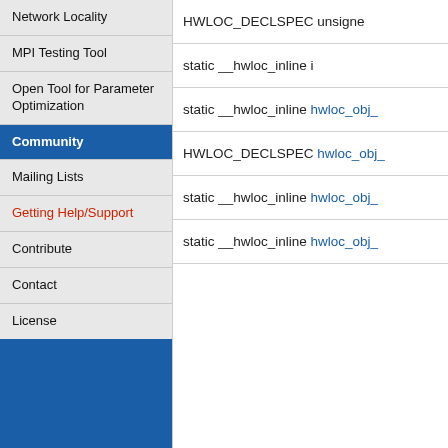Network Locality
MPI Testing Tool
Open Tool for Parameter Optimization
Community
Mailing Lists
Getting Help/Support
Contribute
Contact
License
HWLOC_DECLSPEC unsigned
static __hwloc_inline i
static __hwloc_inline hwloc_obj_
HWLOC_DECLSPEC hwloc_obj_
static __hwloc_inline hwloc_obj_
static __hwloc_inline hwloc_obj_